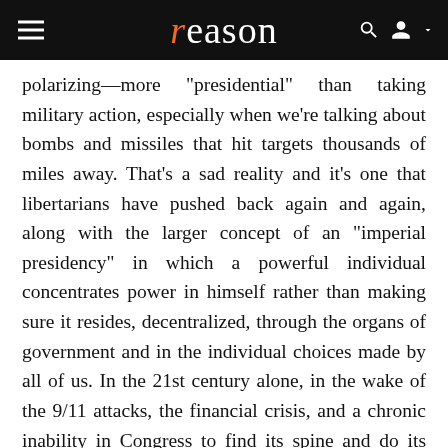reason
polarizing—more "presidential" than taking military action, especially when we're talking about bombs and missiles that hit targets thousands of miles away. That's a sad reality and it's one that libertarians have pushed back again and again, along with the larger concept of an "imperial presidency" in which a powerful individual concentrates power in himself rather than making sure it resides, decentralized, through the organs of government and in the individual choices made by all of us. In the 21st century alone, in the wake of the 9/11 attacks, the financial crisis, and a chronic inability in Congress to find its spine and do its basic duties, the presidency has arrogated more and more power, especially in foreign policy. It's not a surprise, then, that our foreign policy has lurched from one disaster to another. It reflects the flawed impulses of commanders in chief who are not up to running the world. No one is.